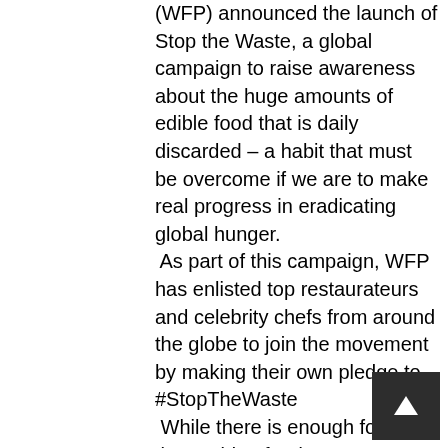(WFP) announced the launch of Stop the Waste, a global campaign to raise awareness about the huge amounts of edible food that is daily discarded – a habit that must be overcome if we are to make real progress in eradicating global hunger.
 As part of this campaign, WFP has enlisted top restaurateurs and celebrity chefs from around the globe to join the movement by making their own pledge to #StopTheWaste
 While there is enough food in the world to feed everyone, one third of the 4 billion metric tons of food we produce each year is lost or wasted, costing the global economy nearly US$1 trillion annually. At the same time, war and unrest are forcing more people to flee their homes than at any time since the Second World War, making it difficult for millions of people to grow their own food or buy it at an affordable price.